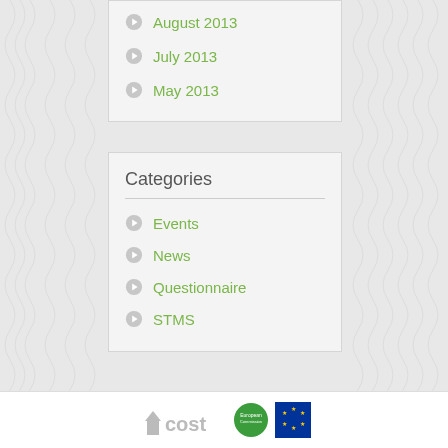August 2013
July 2013
May 2013
Categories
Events
News
Questionnaire
STMS
[Figure (logo): COST logo, EU European logo (green circle), EU flag logo (blue with stars)]